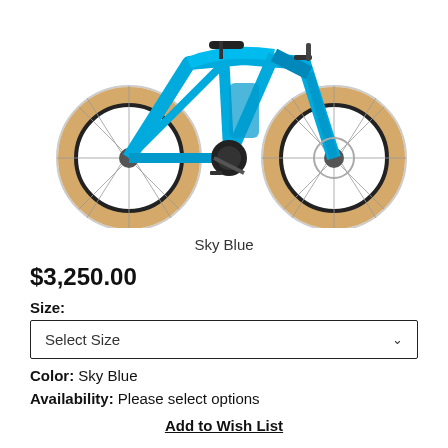[Figure (photo): Sky blue electric bicycle with tan/beige tires, disc brakes, and mid-drive motor, shown from the left side on a white background.]
Sky Blue
$3,250.00
Size:
Select Size
Color: Sky Blue
Availability: Please select options
Add to Wish List